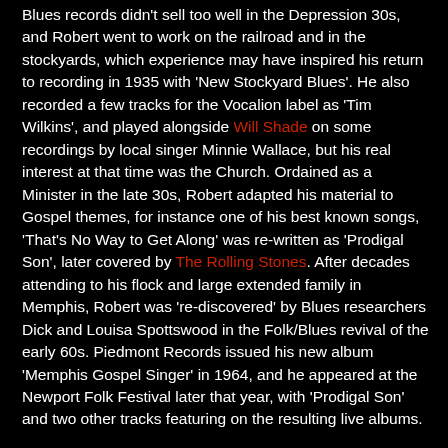Blues records didn't sell too well in the Depression 30s, and Robert went to work on the railroad and in the stockyards, which experience may have inspired his return to recording in 1935 with 'New Stockyard Blues'. He also recorded a few tracks for the Vocalion label as 'Tim Wilkins', and played alongside Will Shade on some recordings by local singer Minnie Wallace, but his real interest at that time was the Church. Ordained as a Minister in the late 30s, Robert adapted his material to Gospel themes, for instance one of his best known songs, 'That's No Way to Get Along' was re-written as 'Prodigal Son', later covered by The Rolling Stones. After decades attending to his flock and large extended family in Memphis, Robert was 're-discovered' by Blues researchers Dick and Louisa Spottswood in the Folk/Blues revival of the early 60s. Piedmont Records issued his new album 'Memphis Gospel Singer' in 1964, and he appeared at the Newport Folk Festival later that year, with 'Prodigal Son' and two other tracks featuring on the resulting live albums.